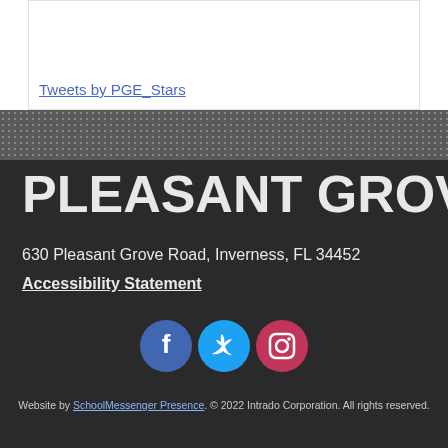Tweets by PGE_Stars
PLEASANT GROVE
630 Pleasant Grove Road, Inverness, FL 34452
Accessibility Statement
[Figure (illustration): Three social media icons: Facebook (blue circle with f), Twitter (light blue circle with bird), Instagram (pink/red circle with camera)]
Website by SchoolMessenger Presence. © 2022 Intrado Corporation. All rights reserved.